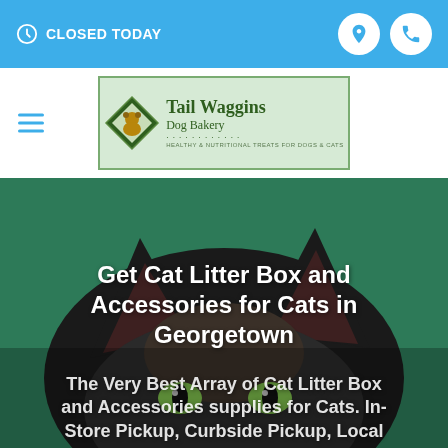CLOSED TODAY
[Figure (logo): Tail Waggins Dog Bakery logo with diamond shape and text: Healthy & Nutritional Treats for Dogs & Cats]
[Figure (photo): Close-up photo of a cat's face and ears against a dark green background]
Get Cat Litter Box and Accessories for Cats in Georgetown
The Very Best Array of Cat Litter Box and Accessories supplies for Cats. In-Store Pickup, Curbside Pickup, Local